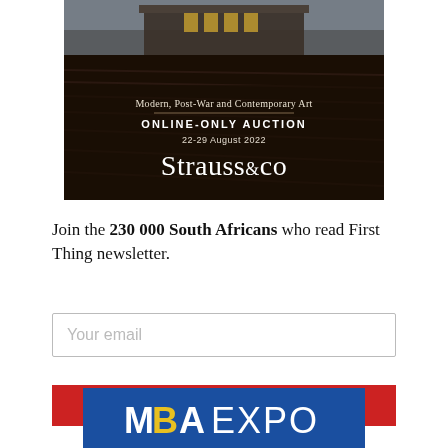[Figure (illustration): Strauss & Co auction advertisement showing a painting of a building with plowed fields, overlaid with text reading 'Modern, Post-War and Contemporary Art', 'ONLINE-ONLY AUCTION', '22-29 August 2022', and 'Strauss&co']
Join the 230 000 South Africans who read First Thing newsletter.
Your email
Subscribe for free today
[Figure (logo): MBA EXPO logo on blue background]